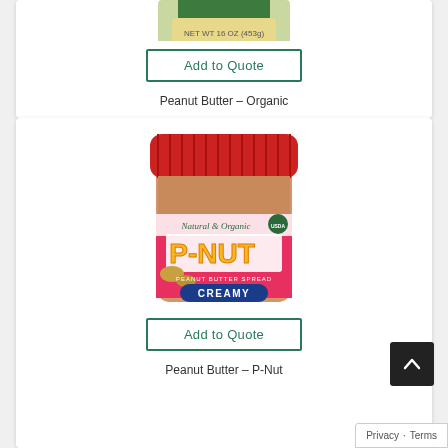[Figure (photo): Partial view of an organic peanut butter jar (top card, cropped at top)]
Add to Quote
Peanut Butter – Organic
[Figure (photo): P-NUT Natural & Organic Peanut Butter Spread Creamy jar with red lid and pink label]
Add to Quote
Peanut Butter – P-Nut